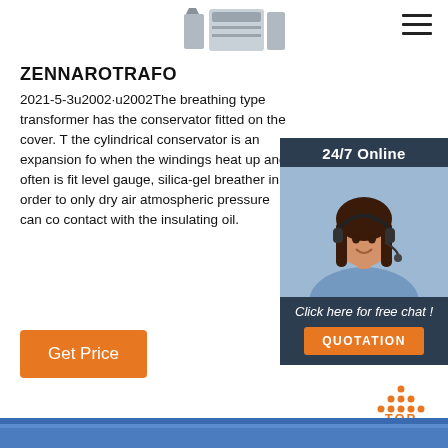[Figure (photo): Partial view of a metal transformer component (grey/silver) at the top of the page]
ZENNAROTRAFO
2021-5-3u2002·u2002The breathing type transformer has the conservator fitted on the cover. The cylindrical conservator is an expansion fo when the windings heat up and often is fit level gauge, silica-gel breather in order to only dry air atmospheric pressure can co contact with the insulating oil.
[Figure (photo): 24/7 Online chat widget with a photo of a smiling woman with a headset, dark background, and a QUOTATION button]
[Figure (other): Orange 'Get Price' button]
[Figure (other): TOP navigation button with orange dots arranged in a triangle above the word TOP]
[Figure (photo): Bottom portion of the page showing a blue metal roof/structure]